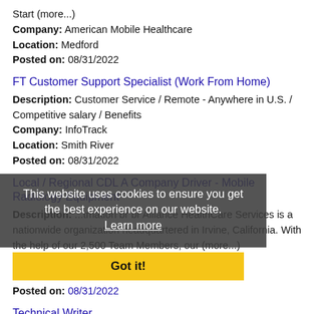Start (more...)
Company: American Mobile Healthcare
Location: Medford
Posted on: 08/31/2022
FT Customer Support Specialist (Work From Home)
Description: Customer Service / Remote - Anywhere in U.S. / Competitive salary / Benefits
Company: InfoTrack
Location: Smith River
Posted on: 08/31/2022
Local / Regional CDL A Company Driver - Mobile Radiology Equipment
Description: ...Alliance HealthCare Services is a nationwide organization headquartered in Irvine, California. With the help of our 2,500 Team Members, our (more...)
Company: Alliance HealthCare Services
Location: Winston
Posted on: 08/31/2022
Technical Writer
Description: Job Summary br Responsible for drafting, editing
This website uses cookies to ensure you get the best experience on our website. Learn more
Got it!